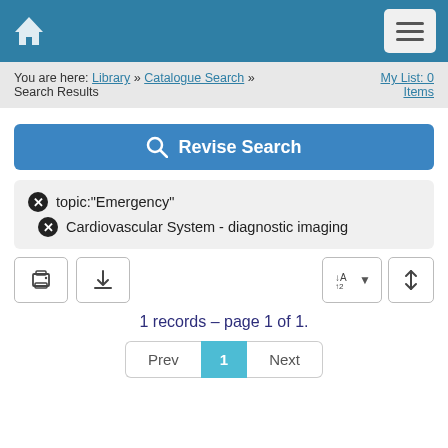Home | Menu
You are here: Library » Catalogue Search » Search Results | My List: 0 Items
[Figure (screenshot): Revise Search button with magnifying glass icon]
topic:"Emergency"
Cardiovascular System - diagnostic imaging
[Figure (screenshot): Toolbar with print, download, sort and filter buttons]
1 records – page 1 of 1.
Prev | 1 | Next